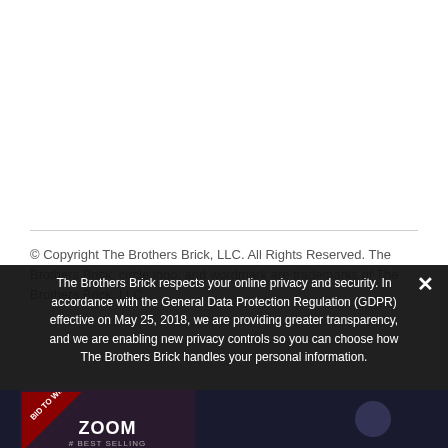© Copyright The Brothers Brick, LLC. All Rights Reserved. The Brothers Brick, circle logo, and wordmark are trademarks of The Brothers Brick, LLC.
The Brothers Brick respects your online privacy and security. In accordance with the General Data Protection Regulation (GDPR) effective on May 25, 2018, we are providing greater transparency, and we are enabling new privacy controls so you can choose how The Brothers Brick handles your personal information.
❯ Privacy Preferences
I Agree
[Figure (screenshot): Partial view of The Brothers Brick website showing a 'BID TO WIN' ribbon banner and 'ZOOM' text on a dark background, with another dark image to the right.]